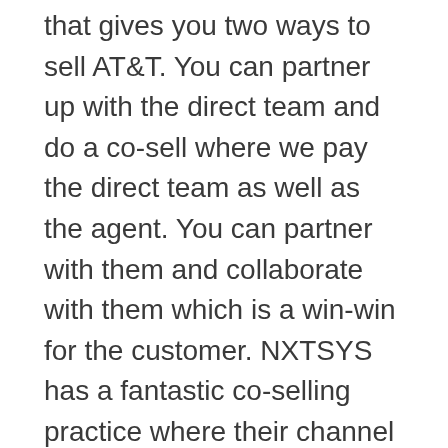that gives you two ways to sell AT&T. You can partner up with the direct team and do a co-sell where we pay the direct team as well as the agent. You can partner with them and collaborate with them which is a win-win for the customer. NXTSYS has a fantastic co-selling practice where their channel managers and agents will go in with the direct team, target them, and come up with a good AT&T solution. And everyone gets paid once it's implemented. Or another way is to pivot by doing solo path selling. You can do it all: come up with a solution, sell it by yourself, and get paid for it. We're one of the only companies that will let a company do that as far as carrier